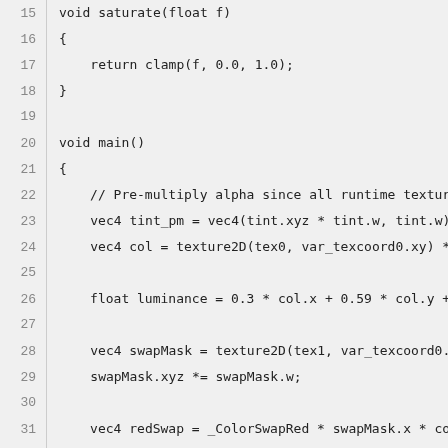Code listing lines 15-38: GLSL shader fragment showing void main() function with color swap logic
15: void saturate(float f)
16: {
17:     return clamp(f, 0.0, 1.0);
18: }
19:
20: void main()
21: {
22:     // Pre-multiply alpha since all runtime textures already are
23:     vec4 tint_pm = vec4(tint.xyz * tint.w, tint.w);
24:     vec4 col = texture2D(tex0, var_texcoord0.xy) * tint_pm;
25:
26:     float luminance = 0.3 * col.x + 0.59 * col.y + 0.11 * col.z;
27:
28:     vec4 swapMask = texture2D(tex1, var_texcoord0.xy);
29:     swapMask.xyz *= swapMask.w;
30:
31:     vec4 redSwap = _ColorSwapRed * swapMask.x * col.w * satur...
32:     vec4 greenSwap = _ColorSwapGreen * swapMask.y * col.w * s...
33:     vec4 blueSwap = _ColorSwapBlue * swapMask.z * col.w * satu...
34:
35:     col.xyz = col.xyz * saturate(1.0 - swapMask.x - swapMask.y - s...
36:     col.xyz = col.xyz + redSwap.xyz + greenSwap.xyz + blueSwap...
37:
38:     gl_FragColor = col;